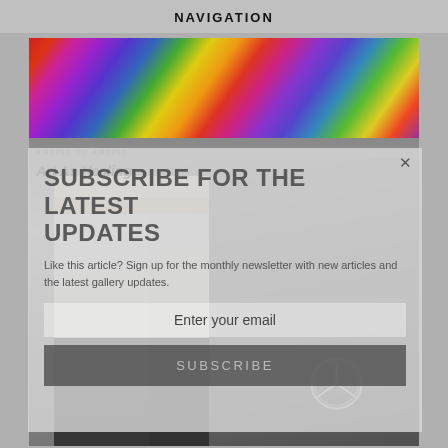NAVIGATION
[Figure (photo): Colorful abstract artwork at top, and a blonde woman standing in front of a Mercedes van below]
ARTIST TO ARTIST
Art As Healing
SUBSCRIBE FOR THE LATEST UPDATES
Like this article? Sign up for the monthly newsletter with new articles and the latest gallery updates.
Enter your email
SUBSCRIBE